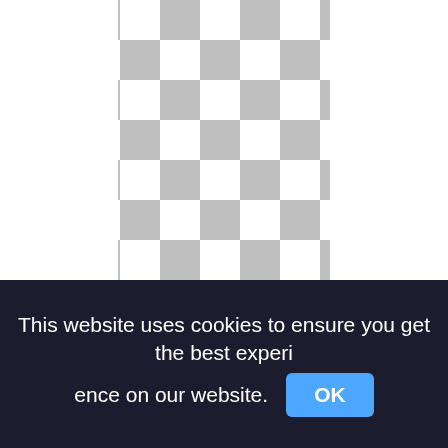[Figure (illustration): Checkerboard transparent background pattern (grey and white squares) with a floral border decoration SVG showing roses and berries on a vine with leaves, centered horizontally on a white/light band.]
Polaroid Polaroid Frame Png, Polaroid Template, Marco, Transparent Aesthetic Polaroid,polaroid vector png
This website uses cookies to ensure you get the best experience on our website.